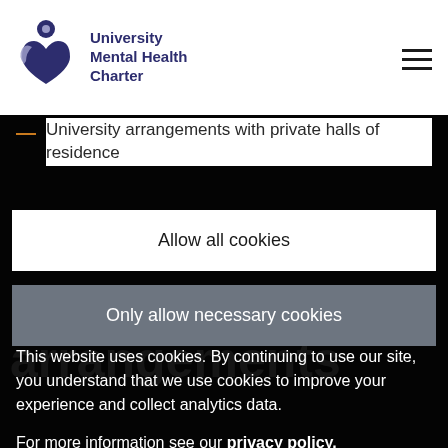University Mental Health Charter
University arrangements with private halls of residence
Allow all cookies
Only allow necessary cookies
This website uses cookies. By continuing to use our site, you understand that we use cookies to improve your experience and collect analytics data.
For more information see our privacy policy.